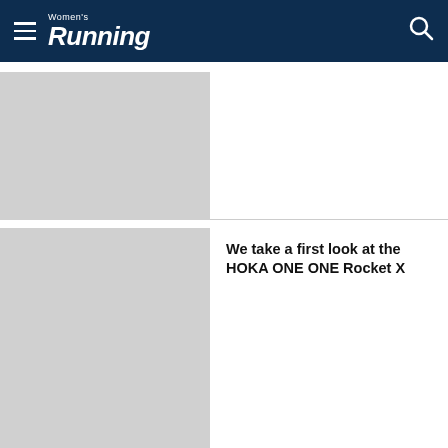Women's Running
[Figure (photo): Placeholder image thumbnail for first article]
[Figure (photo): Placeholder image thumbnail for second article about HOKA ONE ONE Rocket X]
We take a first look at the HOKA ONE ONE Rocket X
We use cookies to give you a better experience on womensrunning.co.uk. By continuing to use our site, you are agreeing to the use of cookies as set in our Cookie Policy.